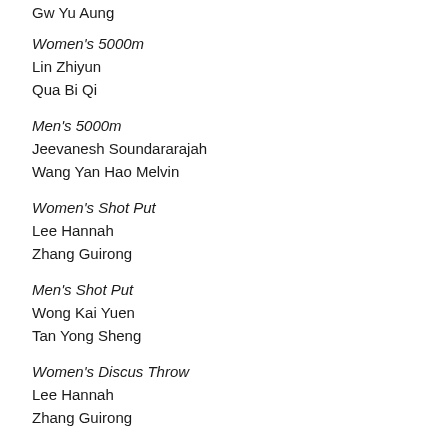Gw Yu Aung
Women's 5000m
Lin Zhiyun
Qua Bi Qi
Men's 5000m
Jeevanesh Soundararajah
Wang Yan Hao Melvin
Women's Shot Put
Lee Hannah
Zhang Guirong
Men's Shot Put
Wong Kai Yuen
Tan Yong Sheng
Women's Discus Throw
Lee Hannah
Zhang Guirong